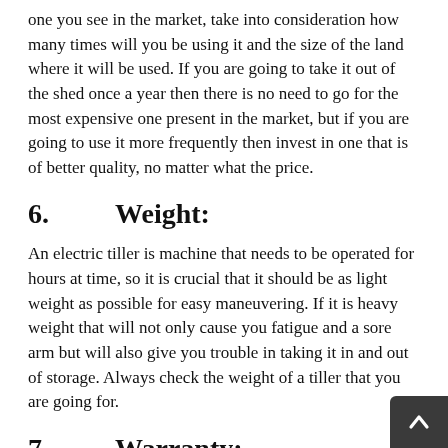one you see in the market, take into consideration how many times will you be using it and the size of the land where it will be used. If you are going to take it out of the shed once a year then there is no need to go for the most expensive one present in the market, but if you are going to use it more frequently then invest in one that is of better quality, no matter what the price.
6.   Weight:
An electric tiller is machine that needs to be operated for hours at time, so it is crucial that it should be as light weight as possible for easy maneuvering. If it is heavy weight that will not only cause you fatigue and a sore arm but will also give you trouble in taking it in and out of storage. Always check the weight of a tiller that you are going for.
7.   Warranty:
An electric tiller is a huge investment that you will be us